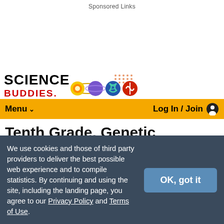Sponsored Links
[Figure (logo): Science Buddies logo with colorful planet/science icons]
Menu  Log In / Join
Tenth Grade, Genetic Engineering Science Projects  Cutting Edge  (7 results)
We use cookies and those of third party providers to deliver the best possible web experience and to compile statistics. By continuing and using the site, including the landing page, you agree to our Privacy Policy and Terms of Use.  OK, got it